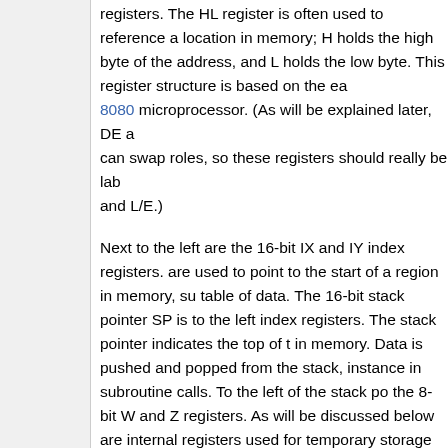registers. The HL register is often used to reference a location in memory; H holds the high byte of the address, and L holds the low byte. This register structure is based on the earlier 8080 microprocessor. (As will be explained later, DE and HL can swap roles, so these registers should really be labeled H/D and L/E.)
Next to the left are the 16-bit IX and IY index registers. They are used to point to the start of a region in memory, such as a table of data. The 16-bit stack pointer SP is to the left of the index registers. The stack pointer indicates the top of the stack in memory. Data is pushed and popped from the stack, for instance in subroutine calls. To the left of the stack pointer are the 8-bit W and Z registers. As will be discussed below, these are internal registers used for temporary storage and are invisible to the programmer.
Separated from the previous registers is the special-purpose memory refresh register R, which simplifies the hardware when dynamic memory is used.[3] The interrupt page address register I is below R, and is used for interrupt handling and provides the high-order byte of an interrupt handler ad